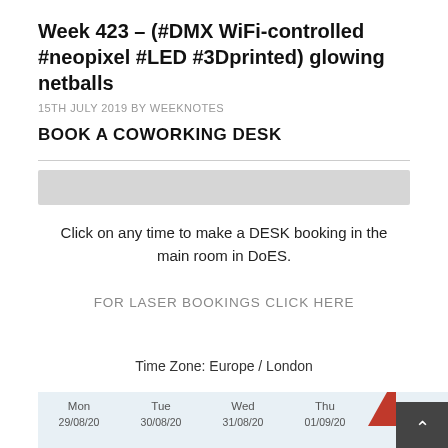Week 423 – (#DMX WiFi-controlled #neopixel #LED #3Dprinted) glowing netballs
15TH JULY 2019 BY WEEKNOTES
BOOK A COWORKING DESK
[Figure (other): Gray horizontal bar UI element (booking calendar header bar)]
Click on any time to make a DESK booking in the main room in DoES.
FOR LASER BOOKINGS CLICK HERE
Time Zone: Europe / London
[Figure (other): Partial weekly calendar grid showing Mon 29/08/20, Tue 30/08/20, Wed 31/08/20, Thu 01/09/20, Fri 02/09/20 with red triangle and dark scroll button overlay]